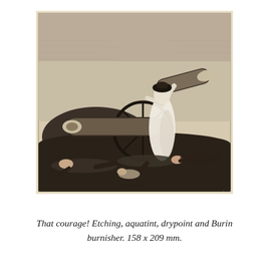[Figure (illustration): A black and white etching depicting a woman in a white dress lifting a cannon barrel, with fallen bodies on the ground around a cannon wheel. The scene is dramatic and warlike, characteristic of Goya's Disasters of War series. A handwritten inscription appears at the bottom of the print.]
That courage! Etching, aquatint, drypoint and Burin burnisher. 158 x 209 mm.